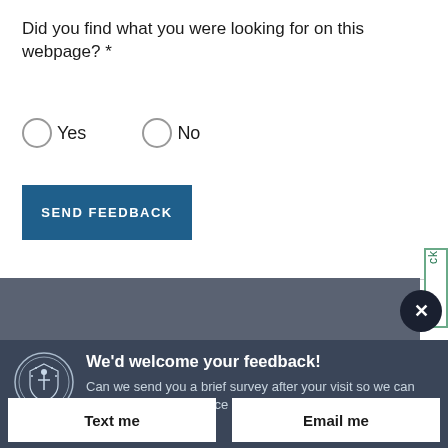Did you find what you were looking for on this webpage? *
Yes   No
SEND FEEDBACK
We'd welcome your feedback!
Can we send you a brief survey after your visit so we can improve your experience on this website?
Text me
Email me
Powered by ForeSee   Privacy Policy